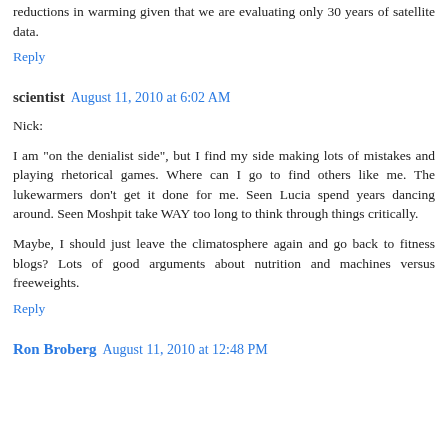reductions in warming given that we are evaluating only 30 years of satellite data.
Reply
scientist  August 11, 2010 at 6:02 AM
Nick:
I am "on the denialist side", but I find my side making lots of mistakes and playing rhetorical games. Where can I go to find others like me. The lukewarmers don't get it done for me. Seen Lucia spend years dancing around. Seen Moshpit take WAY too long to think through things critically.
Maybe, I should just leave the climatosphere again and go back to fitness blogs? Lots of good arguments about nutrition and machines versus freeweights.
Reply
Ron Broberg  August 11, 2010 at 12:48 PM